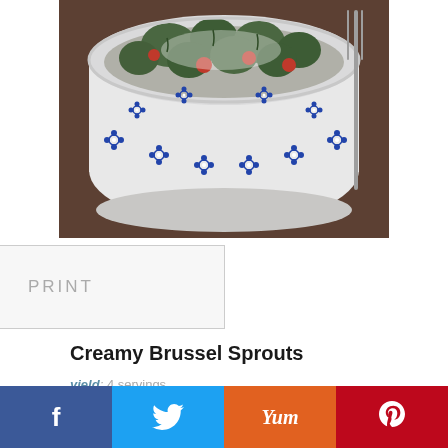[Figure (photo): Bowl of creamy brussel sprouts with tomatoes and cheese, served in a blue and white floral patterned ceramic bowl. Watermark reads UnrulyBliss.com]
PRINT
Creamy Brussel Sprouts
yield: 4 servings
Recipe from Williams-Sonoma's "Essentials of Slow Cooking."
Ingredients
f   Twitter   Yum   P